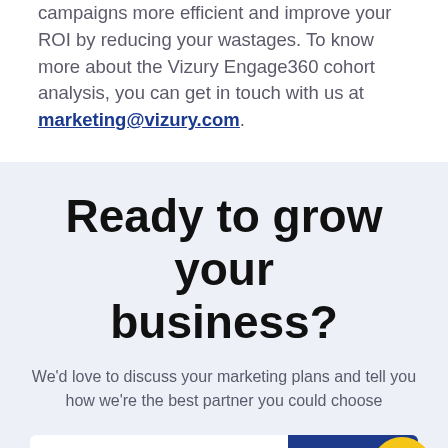campaigns more efficient and improve your ROI by reducing your wastages. To know more about the Vizury Engage360 cohort analysis, you can get in touch with us at marketing@vizury.com.
Ready to grow your business?
We'd love to discuss your marketing plans and tell you how we're the best partner you could choose